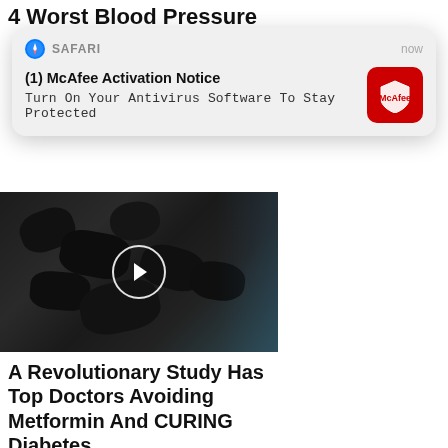4 Worst Blood Pressure
[Figure (screenshot): Safari browser push notification popup with McAfee branding. Header shows Safari compass icon, 'SAFARI' label, and 'now' timestamp. Body shows '(1) McAfee Activation Notice' title and 'Turn On Your Antivirus Software To Stay Protected' message, with a red McAfee shield icon on the right.]
[Figure (photo): Dark dried fruits (raisins/prunes) on a blue surface with a circular play button overlay indicating a video thumbnail.]
A Revolutionary Study Has Top Doctors Avoiding Metformin And CURING Diabetes
🔥 1,147
[Figure (photo): Split image: left side shows a woman with dark hair looking down; right side shows orange spices or ground seasoning with a measuring spoon.]